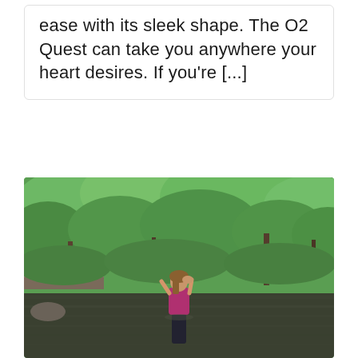ease with its sleek shape. The O2 Quest can take you anywhere your heart desires. If you're [...]
[Figure (photo): A woman in a magenta top and dark patterned pants stands in a dark reflective lake or river, arms raised behind her head, with lush green trees and foliage covering a hillside in the background.]